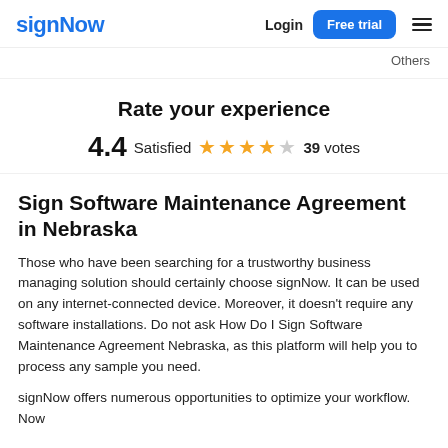signNow   Login   Free trial
Others
Rate your experience
4.4  Satisfied  ★★★★☆  39 votes
Sign Software Maintenance Agreement in Nebraska
Those who have been searching for a trustworthy business managing solution should certainly choose signNow. It can be used on any internet-connected device. Moreover, it doesn't require any software installations. Do not ask How Do I Sign Software Maintenance Agreement Nebraska, as this platform will help you to process any sample you need.
signNow offers numerous opportunities to optimize your workflow. Now